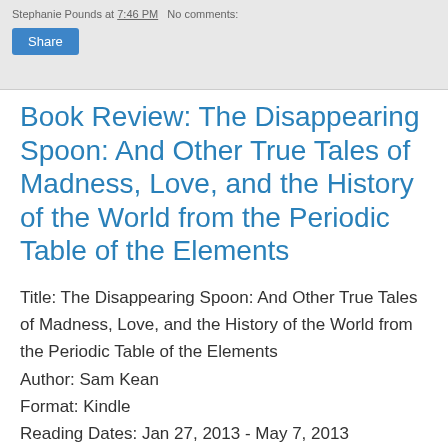Stephanie Pounds at 7:46 PM   No comments:
Book Review: The Disappearing Spoon: And Other True Tales of Madness, Love, and the History of the World from the Periodic Table of the Elements
Title: The Disappearing Spoon: And Other True Tales of Madness, Love, and the History of the World from the Periodic Table of the Elements
Author: Sam Kean
Format: Kindle
Reading Dates: Jan 27, 2013 - May 7, 2013
Rating: ***
I just couldn't hold the thread of this book. I'm wondering how much of that was due to reading it on a Kindle and not